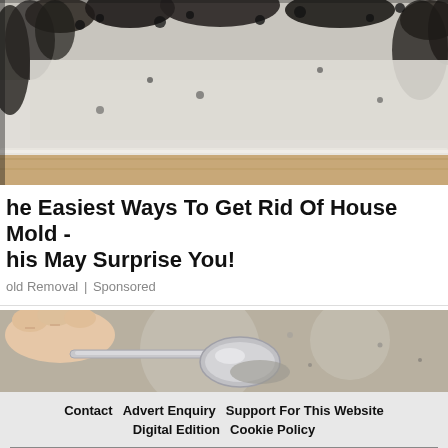[Figure (photo): Photo of black mold growing on a white wall corner near a wooden baseboard and light wood floor]
The Easiest Ways To Get Rid Of House Mold - This May Surprise You!
old Removal | Sponsored
[Figure (photo): Photo of a hand holding a metal spoon scraping a textured surface, close-up]
Contact  Advert Enquiry  Support For This Website  Digital Edition  Cookie Policy